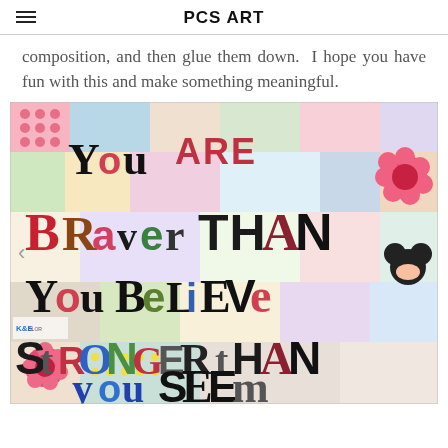PCS ART
composition, and then glue them down.  I hope you have fun with this and make something meaningful.
[Figure (photo): A colorful magazine letter collage artwork spelling out 'You ARE Braver THAN You BeLIEVe Stronger THAN you SEEm' made from cut-out letters of various fonts, sizes, and colors on a background of patterned magazine clippings and photos.]